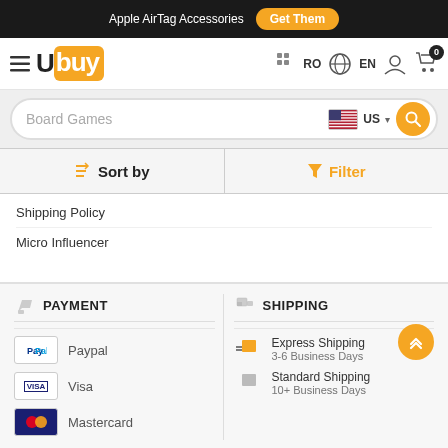Apple AirTag Accessories  Get Them
[Figure (logo): Ubuy logo with orange background on 'buy' portion]
[Figure (screenshot): Search bar with 'Board Games' placeholder text, US flag country selector, and search button]
Sort by   Filter
Shipping Policy
Micro Influencer
PAYMENT
Paypal
Visa
Mastercard
SHIPPING
Express Shipping
3-6 Business Days
Standard Shipping
10+ Business Days